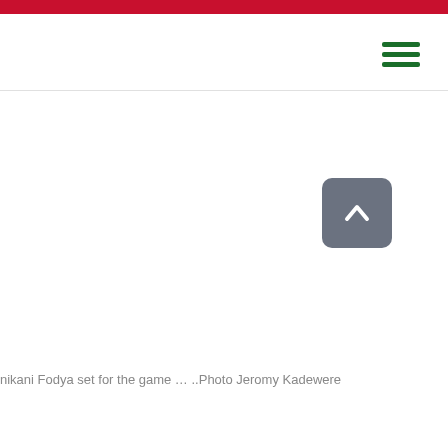nikani Fodya set for the game … ..Photo Jeromy Kadewere
[Figure (other): Scroll-to-top button with upward chevron arrow on grey rounded rectangle background]